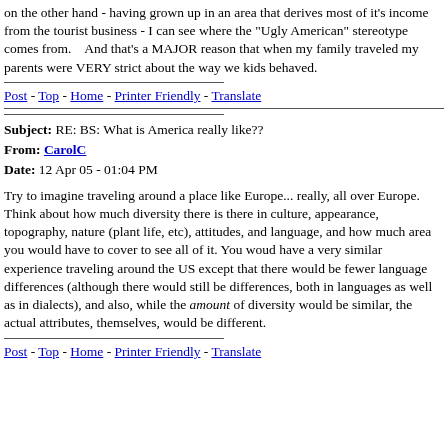on the other hand - having grown up in an area that derives most of it's income from the tourist business - I can see where the "Ugly American" stereotype comes from.    And that's a MAJOR reason that when my family traveled my parents were VERY strict about the way we kids behaved.
Post - Top - Home - Printer Friendly - Translate
Subject: RE: BS: What is America really like??
From: CarolC
Date: 12 Apr 05 - 01:04 PM
Try to imagine traveling around a place like Europe... really, all over Europe. Think about how much diversity there is there in culture, appearance, topography, nature (plant life, etc), attitudes, and language, and how much area you would have to cover to see all of it. You woud have a very similar experience traveling around the US except that there would be fewer language differences (although there would still be differences, both in languages as well as in dialects), and also, while the amount of diversity would be similar, the actual attributes, themselves, would be different.
Post - Top - Home - Printer Friendly - Translate